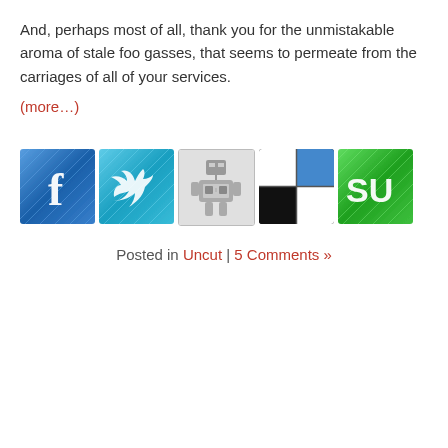And, perhaps most of all, thank you for the unmistakable aroma of stale food and gasses, that seems to permeate from the carriages of all of your services.
(more…)
[Figure (infographic): Five social media sharing icons in a row: Facebook (blue with F logo), Twitter (blue with bird logo), a tech/tools icon (gray with robot figure), a black and white checker pattern icon, and StumbleUpon (green with SU logo)]
Posted in Uncut | 5 Comments »